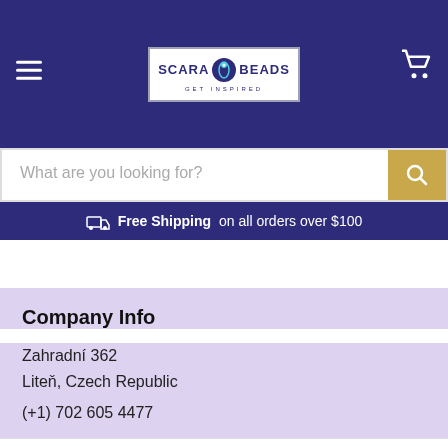[Figure (logo): Scara Beads logo with tagline GET INSPIRED in a white bordered box, centered in a dark navy header with hamburger menu on left and cart icon on right]
What are you looking for?
Free Shipping on all orders over $100
Company Info
Zahradní 362
Liteň, Czech Republic
(+1) 702 605 4477
This website uses cookies to ensure you get the best experience on our website. Learn more
Got it